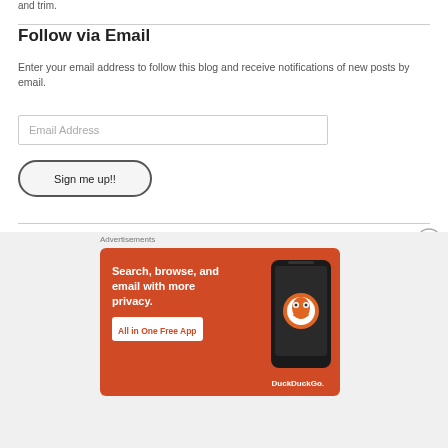and trim.
Follow via Email
Enter your email address to follow this blog and receive notifications of new posts by email.
Email Address
Sign me up!!
Advertisements
[Figure (infographic): DuckDuckGo advertisement: 'Search, browse, and email with more privacy. All in One Free App' with an image of a smartphone and the DuckDuckGo logo.]